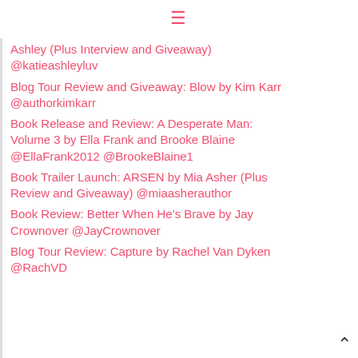[Figure (other): Hamburger menu icon (three horizontal lines) in pink/red color]
Ashley (Plus Interview and Giveaway) @katieashleyluv
Blog Tour Review and Giveaway: Blow by Kim Karr @authorkimkarr
Book Release and Review: A Desperate Man: Volume 3 by Ella Frank and Brooke Blaine @EllaFrank2012 @BrookeBlaine1
Book Trailer Launch: ARSEN by Mia Asher (Plus Review and Giveaway) @miaasherauthor
Book Review: Better When He’s Brave by Jay Crownover @JayCrownover
Blog Tour Review: Capture by Rachel Van Dyken @RachVD